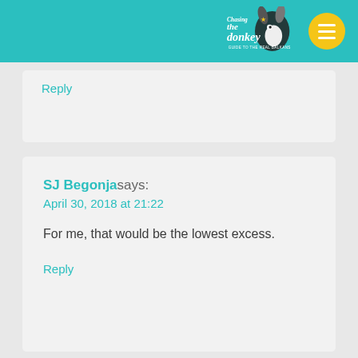Chasing the Donkey
Reply
SJ Begonja says:
April 30, 2018 at 21:22

For me, that would be the lowest excess.

Reply